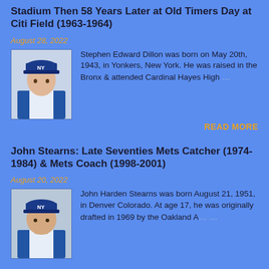Stadium Then 58 Years Later at Old Timers Day at Citi Field (1963-1964)
August 28, 2022
[Figure (photo): Black and white / color photo of a young Mets baseball player wearing a Mets cap]
Stephen Edward Dillon was born on May 20th, 1943, in Yonkers, New York. He was raised in the Bronx & attended Cardinal Hayes High …
READ MORE
John Stearns: Late Seventies Mets Catcher (1974-1984) & Mets Coach (1998-2001)
August 20, 2022
[Figure (photo): Photo of John Stearns in Mets uniform]
John Harden Stearns was born August 21, 1951, in Denver Colorado. At age 17, he was originally drafted in 1969 by the Oakland A's …